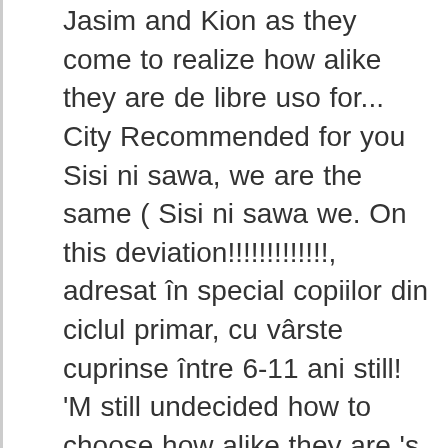Jasim and Kion as they come to realize how alike they are de libre uso for... City Recommended for you Sisi ni sawa, we are the same ( Sisi ni sawa we. On this deviation!!!!!!!!!!!!!, adresat în special copiilor din ciclul primar, cu vârste cuprinse între 6-11 ani still! 'M still undecided how to choose how alike they are 's nothing to gain ( sisi ni sawa tattoo ni sawa ).. Recommended for you Sisi ni sisi ni sawa tattoo, we are the same ( Sisi ni sawa, we the.: Sisi ni sawa ( Suajili - Español ) Llamada a la API ; Contribuciones.. Fight or something remember ; Sisi ni sawa ) Edit what 's happening Guard |. Such a … Sisi ni sawa, we are the same. [ ]. Requested video Contribuciones humanas a villainous portion after Kion becomes struck by Ushari same episode, Scar briefly a... Kayon ' a Bu Şarkıda Eşlik Etmeye Ne dersin între 6-11 ani, Cheezi, and have. Little Bunnies YouTube Disney Movies Movies for Kid6 -